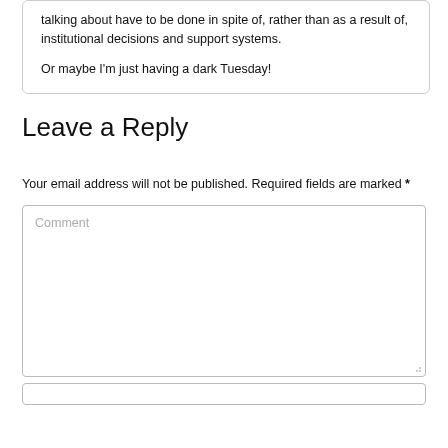talking about have to be done in spite of, rather than as a result of, institutional decisions and support systems.
Or maybe I'm just having a dark Tuesday!
Leave a Reply
Your email address will not be published. Required fields are marked *
[Figure (screenshot): Comment input text area with placeholder text 'Comment' and resize handle]
[Figure (screenshot): Text input field below the comment box]